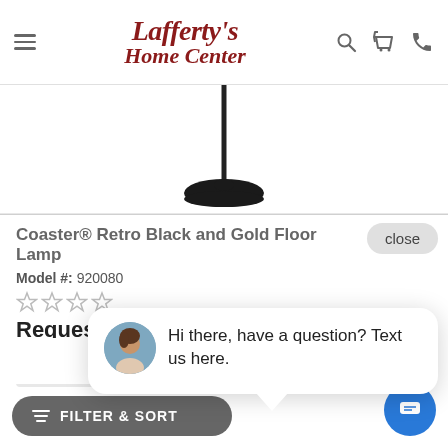Lafferty's Home Center
[Figure (photo): Partial view of a black floor lamp on white background]
Coaster® Retro Black and Gold Floor Lamp
Model #: 920080
[Figure (other): Four empty star rating icons]
Request a
close
[Figure (photo): Chat popup with woman avatar and text: Hi there, have a question? Text us here.]
Hi there, have a question? Text us here.
COMPARE
FILTER & SORT